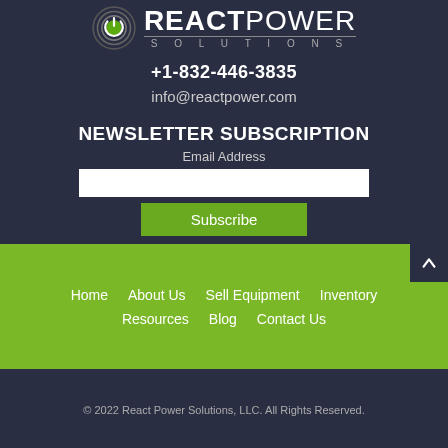[Figure (logo): React Power Solutions logo with circular power icon and company name]
+1-832-446-3835
info@reactpower.com
NEWSLETTER SUBSCRIPTION
Email Address
Subscribe
Home
About Us
Sell Equipment
Inventory
Resources
Blog
Contact Us
© 2022 React Power Solutions, LLC. All Rights Reserved.